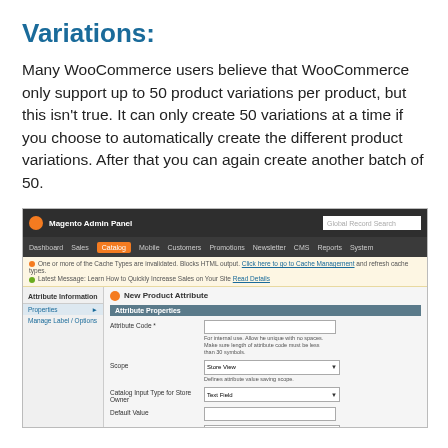Variations:
Many WooCommerce users believe that WooCommerce only support up to 50 product variations per product, but this isn't true. It can only create 50 variations at a time if you choose to automatically create the different product variations. After that you can again create another batch of 50.
[Figure (screenshot): Magento Admin Panel screenshot showing the New Product Attribute form with Attribute Information sidebar (Properties, Manage Label/Options) and main content area with Attribute Properties section. Fields visible include Attribute Code, Scope (Store View dropdown), Catalog Input Type for Store Owner (Text Field dropdown), Default Value, and Unique Value (No dropdown).]